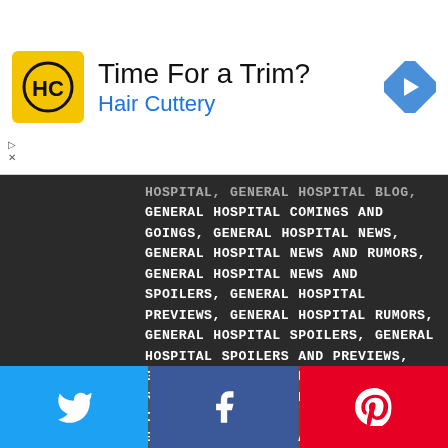[Figure (infographic): Hair Cuttery advertisement banner with logo, tagline 'Time For a Trim?' and blue navigation icon]
HOSPITAL, GENERAL HOSPITAL BLOG, GENERAL HOSPITAL COMINGS AND GOINGS, GENERAL HOSPITAL NEWS, GENERAL HOSPITAL NEWS AND RUMORS, GENERAL HOSPITAL NEWS AND SPOILERS, GENERAL HOSPITAL PREVIEWS, GENERAL HOSPITAL RUMORS, GENERAL HOSPITAL SPOILERS, GENERAL HOSPITAL SPOILERS AND PREVIEWS, GENERAL HOSPITAL SPOILERS AND RUMORS, JON LINDSTROM, MARCUS COLOMA, MAURA WEST, NIKOLAS AND ESME, NIKOLAS CASSADINE, NIKOLAS SLEEPS WITH ESME, RYAN CHAMBERLAIN, RYAN IS ESME'S FATHER, SPENCER AND ESME, SPENCER CASSADINE
[Figure (infographic): Social share buttons: Twitter (blue), Facebook (dark blue), Pinterest (red)]